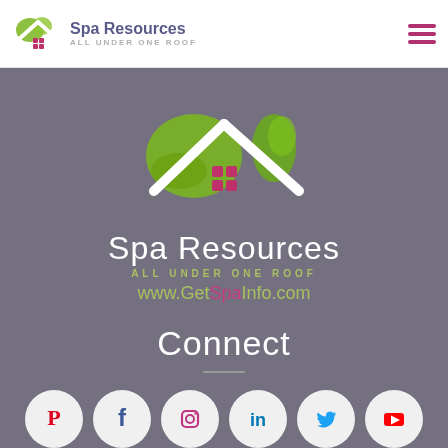[Figure (logo): Spa Resources logo in header: house roof icon with green abstract shape and magenta dots, text 'Spa Resources ALL UNDER ONE ROOF']
[Figure (logo): Large Spa Resources logo centered on dark gray background: green abstract splash/house roof icon with four magenta squares; text 'Spa Resources', 'ALL UNDER ONE ROOF', 'www.GetSpaInfo.com']
Connect
[Figure (infographic): Row of six social media icons (Pinterest, Facebook, Instagram, LinkedIn, Twitter, YouTube) in circular white buttons, partially visible at bottom of page]